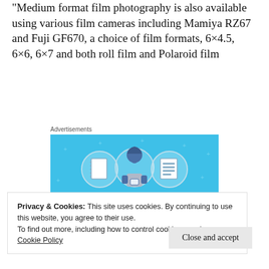"Medium format film photography is also available using various film cameras including Mamiya RZ67 and Fuji GF670, a choice of film formats, 6×4.5, 6×6, 6×7 and both roll film and Polaroid film
Advertisements
[Figure (illustration): Blue advertisement banner for 'Day One' journaling app showing a cartoon figure holding a phone flanked by notebook icons, with text 'DAY ONE' and 'The only journaling']
Privacy & Cookies: This site uses cookies. By continuing to use this website, you agree to their use.
To find out more, including how to control cookies, see here:
Cookie Policy
Close and accept